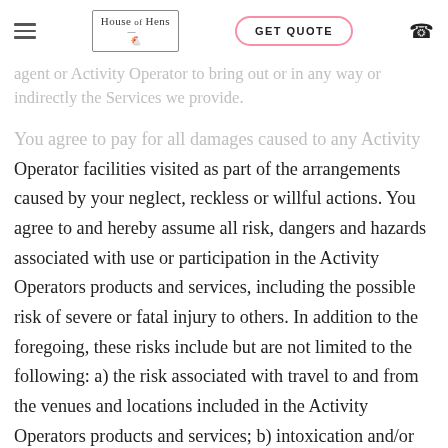House of Hens | GET QUOTE
agent or Activity Operator to bring out or in any way or indirectly the Services we provide.
You agree to pay for all damages caused to any Activity Operator facilities visited as part of the arrangements caused by your neglect, reckless or willful actions. You agree to and hereby assume all risk, dangers and hazards associated with use or participation in the Activity Operators products and services, including the possible risk of severe or fatal injury to others. In addition to the foregoing, these risks include but are not limited to the following: a) the risk associated with travel to and from the venues and locations included in the Activity Operators products and services; b) intoxication and/or alcohol poisoning from the alcohol you consume; c) the possibility of bodily injury; and d) being in altercations with others (which is not condoned or tolerated by us). You agree to indemnify us from all third party actions, suits,